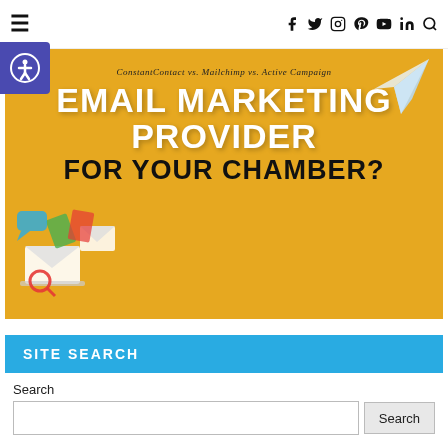≡  [social icons: Facebook, Twitter, Instagram, Pinterest, YouTube, LinkedIn, Search]
[Figure (infographic): Email marketing provider comparison banner. Orange/golden background with text 'ConstantContact vs. Mailchimp vs. Active Campaign' at top, large bold white text 'EMAIL MARKETING PROVIDER' and dark bold text 'FOR YOUR CHAMBER?' below. Paper plane icon top right, email/marketing icons bottom left.]
SITE SEARCH
Search
Search